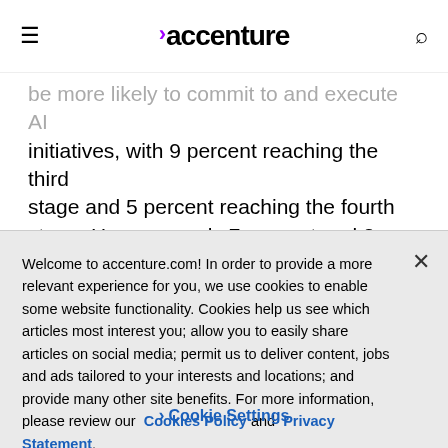accenture
be more likely to commit to and execute AI initiatives, with 9 percent reaching the third stage and 5 percent reaching the fourth stage. However, only 7 percent and 3 percent of consumer durables companies and industrial and heavy equipment makers
Welcome to accenture.com! In order to provide a more relevant experience for you, we use cookies to enable some website functionality. Cookies help us see which articles most interest you; allow you to easily share articles on social media; permit us to deliver content, jobs and ads tailored to your interests and locations; and provide many other site benefits. For more information, please review our Cookies Policy and Privacy Statement.
Cookie Settings